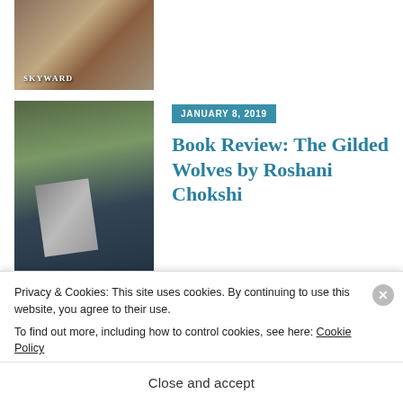[Figure (photo): Partial photo of books including one labeled Skyward, at top of page]
[Figure (photo): Photo of a collection of books spines visible, person holding The Gilded Wolves book in front]
JANUARY 8, 2019
Book Review: The Gilded Wolves by Roshani Chokshi
[Figure (photo): Photo of a book (Morning Star) in a Christmas tree setting with ornaments]
NOVEMBER 21, 2018
Book Review: Morning Star by Pierce Brown
Privacy & Cookies: This site uses cookies. By continuing to use this website, you agree to their use.
To find out more, including how to control cookies, see here: Cookie Policy
Close and accept